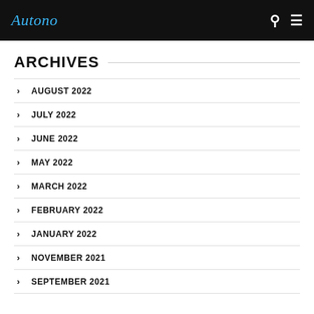Autono
ARCHIVES
AUGUST 2022
JULY 2022
JUNE 2022
MAY 2022
MARCH 2022
FEBRUARY 2022
JANUARY 2022
NOVEMBER 2021
SEPTEMBER 2021